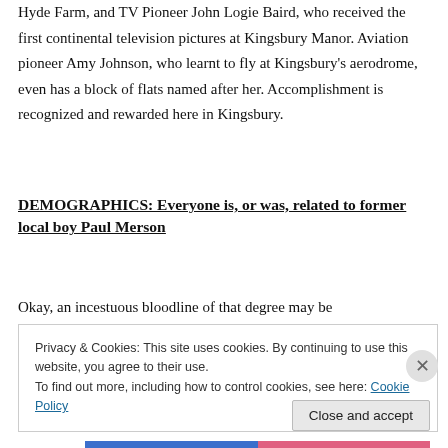Hyde Farm, and TV Pioneer John Logie Baird, who received the first continental television pictures at Kingsbury Manor. Aviation pioneer Amy Johnson, who learnt to fly at Kingsbury's aerodrome, even has a block of flats named after her. Accomplishment is recognized and rewarded here in Kingsbury.
DEMOGRAPHICS: Everyone is, or was, related to former local boy Paul Merson
Okay, an incestuous bloodline of that degree may be
Privacy & Cookies: This site uses cookies. By continuing to use this website, you agree to their use.
To find out more, including how to control cookies, see here: Cookie Policy
Close and accept